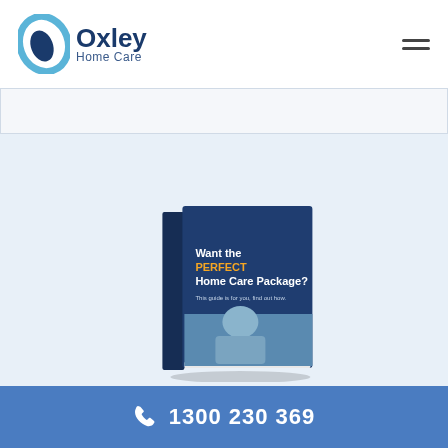[Figure (logo): Oxley Home Care logo with oval blue swirl icon and company name]
[Figure (illustration): A book titled 'Want the PERFECT Home Care Package? This guide is for you, find out how.' with dark navy cover and image at the bottom]
1300 230 369